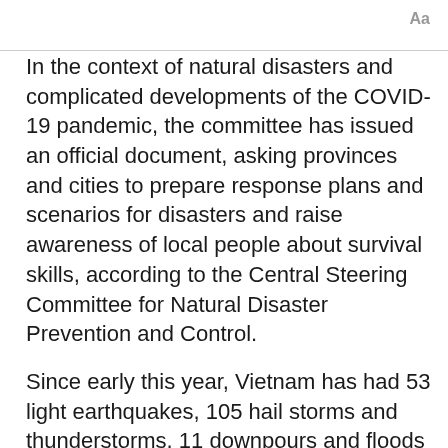Aa
In the context of natural disasters and complicated developments of the COVID-19 pandemic, the committee has issued an official document, asking provinces and cities to prepare response plans and scenarios for disasters and raise awareness of local people about survival skills, according to the Central Steering Committee for Natural Disaster Prevention and Control.
Since early this year, Vietnam has had 53 light earthquakes, 105 hail storms and thunderstorms, 11 downpours and floods and 21 landslides.
Between January-May this year, natural disasters have claimed 21 lives, injured 29 people, damaged